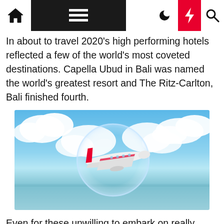[Navigation bar with home, menu, moon, bolt, search icons]
In about to travel 2020's high-performing hotels reflected a few of the world's most coveted destinations. Capella Ubud in Bali was named the world's greatest resort and The Ritz-Carlton, Bali finished fourth.
[Figure (photo): An airplane with red tail fin flying inside a transparent bubble sphere, set against a blue sky with white clouds and calm ocean water below.]
Even for these unwilling to embark on really finances leisure travel, there are lots of methods to limit costs. Popular leisure travel destinations will typically see a large swing in costs amongst motels,